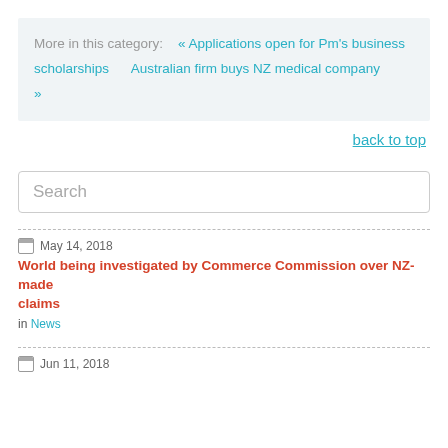More in this category: « Applications open for Pm's business scholarships      Australian firm buys NZ medical company »
back to top
Search
May 14, 2018
World being investigated by Commerce Commission over NZ-made claims
in News
Jun 11, 2018